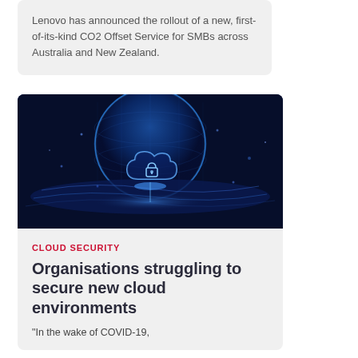Lenovo has announced the rollout of a new, first-of-its-kind CO2 Offset Service for SMBs across Australia and New Zealand.
[Figure (illustration): Digital globe with glowing cloud and padlock icon over blue data wave — cybersecurity concept image]
CLOUD SECURITY
Organisations struggling to secure new cloud environments
“In the wake of COVID-19,